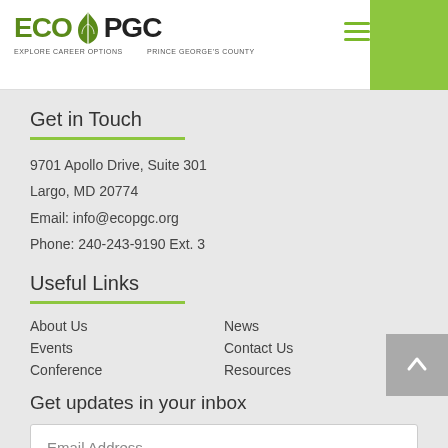ECO PGC - Explore Career Options Prince George's County
Get in Touch
9701 Apollo Drive, Suite 301
Largo, MD 20774
Email: info@ecopgc.org
Phone: 240-243-9190 Ext. 3
Useful Links
About Us
News
Events
Contact Us
Conference
Resources
Get updates in your inbox
Email Address